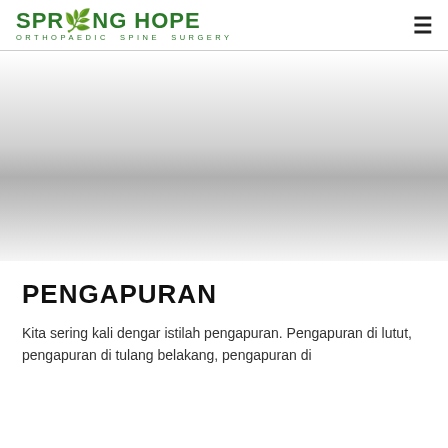SPRING HOPE ORTHOPAEDIC SPINE SURGERY
[Figure (photo): Hero image with gradient from white to gray, representing a medical/spine background image]
PENGAPURAN
Kita sering kali dengar istilah pengapuran. Pengapuran di lutut, pengapuran di tulang belakang, pengapuran di